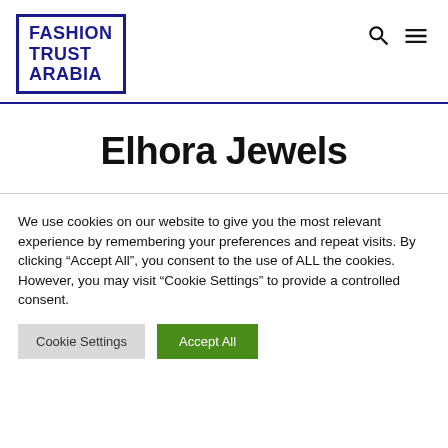[Figure (logo): Fashion Trust Arabia logo — blue bordered rectangle containing bold blue text: FASHION TRUST ARABIA]
Elhora Jewels
We use cookies on our website to give you the most relevant experience by remembering your preferences and repeat visits. By clicking “Accept All”, you consent to the use of ALL the cookies. However, you may visit “Cookie Settings” to provide a controlled consent.
Cookie Settings | Accept All